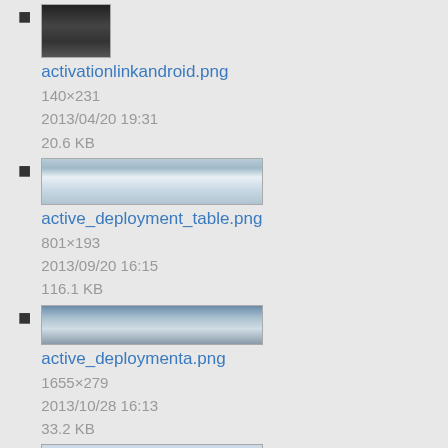activationlinkandroid.png
140×231
2013/04/20 19:31
20.6 KB
active_deployment_table.png
801×193
2013/09/20 16:15
116.1 KB
active_deploymenta.png
1655×279
2013/10/28 16:13
33.2 KB
add_admin1.png
1214×550
2013/12/19 21:37